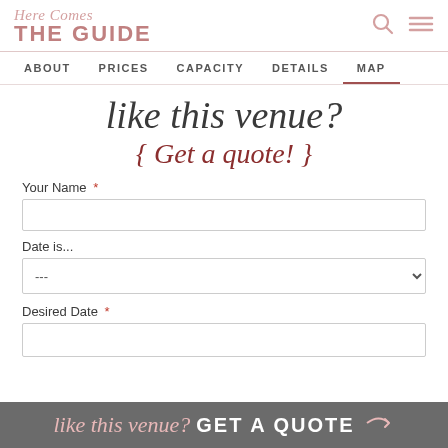Here Comes THE GUIDE
ABOUT   PRICES   CAPACITY   DETAILS   MAP
like this venue? { Get a quote! }
Your Name *
Date is...
Desired Date *
like this venue? GET A QUOTE